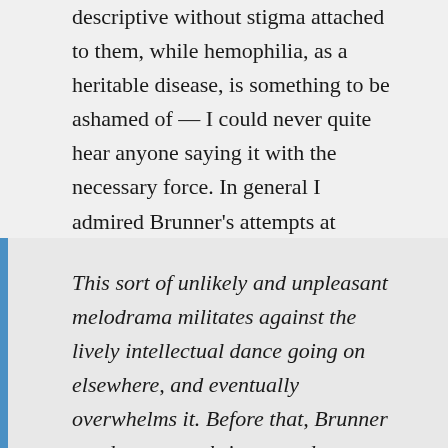descriptive without stigma attached to them, while hemophilia, as a heritable disease, is something to be ashamed of — I could never quite hear anyone saying it with the necessary force. In general I admired Brunner's attempts at stylistic diversity, without thinking all of them equally successful.
What they thought a bit later: Brian Aldiss, p 367 of Trillion Year Spree (1986):
This sort of unlikely and unpleasant melodrama militates against the lively intellectual dance going on elsewhere, and eventually overwhelms it. Before that, Brunner conducts a teach-in on modern moralities,